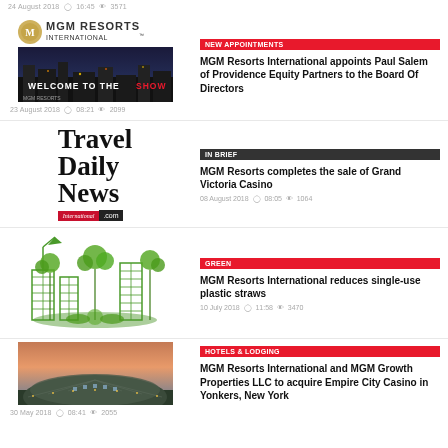24 August 2018  16:45  3571
[Figure (logo): MGM Resorts International logo]
[Figure (photo): MGM Resorts 'Welcome to the Show' nighttime photo]
23 August 2018  08:21  2099
NEW APPOINTMENTS
MGM Resorts International appoints Paul Salem of Providence Equity Partners to the Board Of Directors
[Figure (logo): Travel Daily News International logo]
IN BRIEF
MGM Resorts completes the sale of Grand Victoria Casino
08 August 2018  08:05  1064
[Figure (illustration): Green eco city illustration with buildings and trees]
GREEN
MGM Resorts International reduces single-use plastic straws
10 July 2018  11:58  3470
[Figure (photo): Hotel building exterior at dusk]
30 May 2018  08:41  2055
HOTELS & LODGING
MGM Resorts International and MGM Growth Properties LLC to acquire Empire City Casino in Yonkers, New York